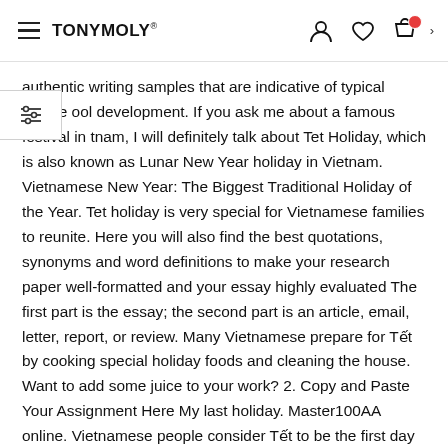TONYMOLY.
authentic writing samples that are indicative of typical middle ool development. If you ask me about a famous festival in tnam, I will definitely talk about Tet Holiday, which is also known as Lunar New Year holiday in Vietnam. Vietnamese New Year: The Biggest Traditional Holiday of the Year. Tet holiday is very special for Vietnamese families to reunite. Here you will also find the best quotations, synonyms and word definitions to make your research paper well-formatted and your essay highly evaluated The first part is the essay; the second part is an article, email, letter, report, or review. Many Vietnamese prepare for Tết by cooking special holiday foods and cleaning the house. Want to add some juice to your work? 2. Copy and Paste Your Assignment Here My last holiday. Master100AA online. Vietnamese people consider Tết to be the first day of spring and the festival is often called spring festival. A special holiday in Vietnam that you like the most. Japanese way of eating, which is an important part of Japanese culture. Fifth Grade Writing 26 A set of authentic writing samples that are indicative of typical fifth grade development. For practice, have